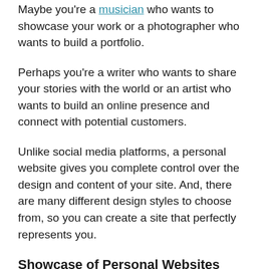Maybe you're a musician who wants to showcase your work or a photographer who wants to build a portfolio.
Perhaps you're a writer who wants to share your stories with the world or an artist who wants to build an online presence and connect with potential customers.
Unlike social media platforms, a personal website gives you complete control over the design and content of your site. And, there are many different design styles to choose from, so you can create a site that perfectly represents you.
Showcase of Personal Websites